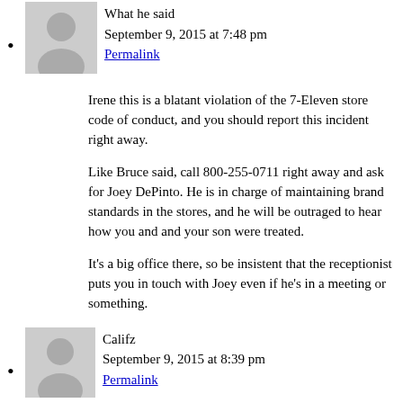[Figure (illustration): Grey placeholder avatar image (person silhouette) for first commenter]
What he said
September 9, 2015 at 7:48 pm
Permalink
Irene this is a blatant violation of the 7-Eleven store code of conduct, and you should report this incident right away.

Like Bruce said, call 800-255-0711 right away and ask for Joey DePinto. He is in charge of maintaining brand standards in the stores, and he will be outraged to hear how you and and your son were treated.

It’s a big office there, so be insistent that the receptionist puts you in touch with Joey even if he’s in a meeting or something.
[Figure (illustration): Grey placeholder avatar image (person silhouette) for second commenter]
Califz
September 9, 2015 at 8:39 pm
Permalink